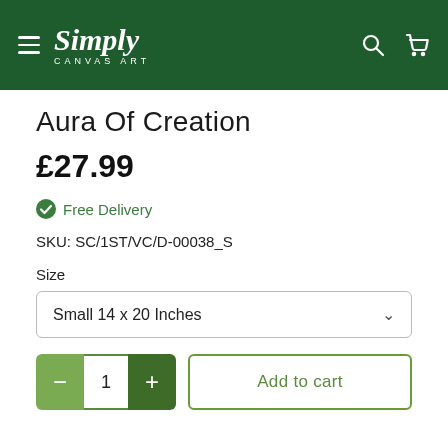Simply Canvas Art
Aura Of Creation
£27.99
Free Delivery
SKU: SC/1ST/VC/D-00038_S
Size
Small 14 x 20 Inches
1
Add to cart